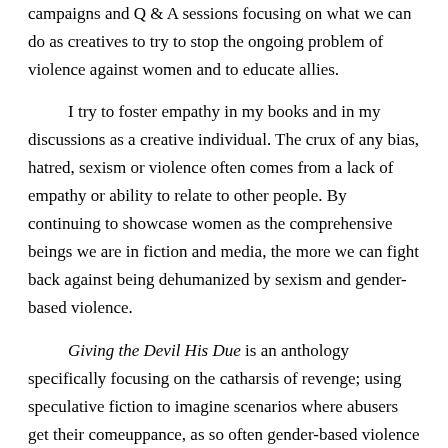campaigns and Q & A sessions focusing on what we can do as creatives to try to stop the ongoing problem of violence against women and to educate allies.
I try to foster empathy in my books and in my discussions as a creative individual. The crux of any bias, hatred, sexism or violence often comes from a lack of empathy or ability to relate to other people. By continuing to showcase women as the comprehensive beings we are in fiction and media, the more we can fight back against being dehumanized by sexism and gender-based violence.
Giving the Devil His Due is an anthology specifically focusing on the catharsis of revenge; using speculative fiction to imagine scenarios where abusers get their comeuppance, as so often gender-based violence goes unpunished or unrecognized. The anthology also contains many resources for any reader in an